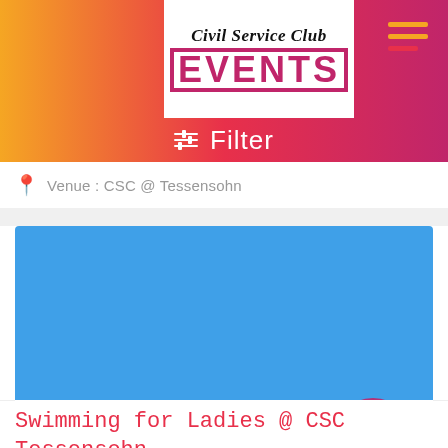[Figure (logo): Civil Service Club EVENTS logo in white box with script and bold red text]
Filter
Venue : CSC @ Tessensohn
[Figure (photo): Blue rectangular event image with a dark pink/maroon circle in the bottom right corner]
Swimming for Ladies @ CSC Tessensohn